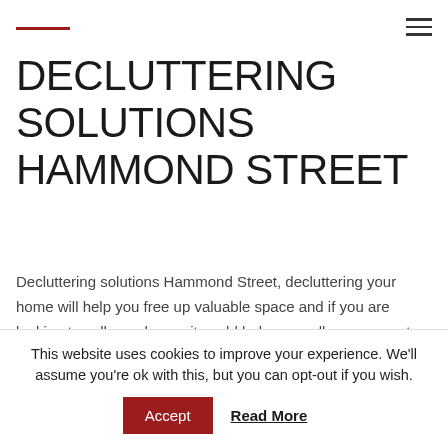— ≡
DECLUTTERING SOLUTIONS HAMMOND STREET
Decluttering solutions Hammond Street, decluttering your home will help you free up valuable space and if you are looking to sell your home, it could help you sell your property faster. If you're looking for decluttering solutions Hammond Street, Security Self Storage has a complete range of storage solutions.
This website uses cookies to improve your experience. We'll assume you're ok with this, but you can opt-out if you wish.
Accept  Read More